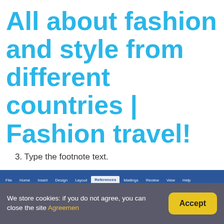All about fashion and style from different countries | Fashion travel!
3. Type the footnote text.
[Figure (screenshot): Screenshot of Microsoft Word ribbon showing References tab with options including Table of Contents, Insert Footnote, Next Footnote, Show Notes, Smart Lookup, Insert Citation, Manage Sources, Style, Bibliography]
We store cookies: if you do not agree, you can close the site Agreemen
Accept